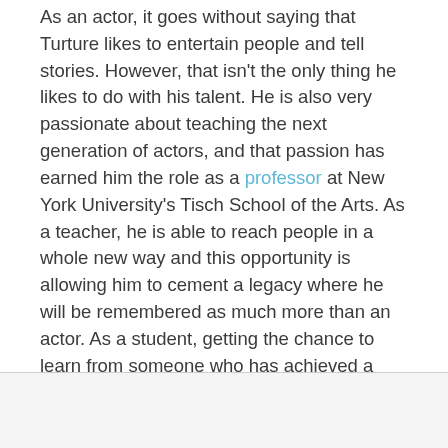As an actor, it goes without saying that Turture likes to entertain people and tell stories. However, that isn't the only thing he likes to do with his talent. He is also very passionate about teaching the next generation of actors, and that passion has earned him the role as a professor at New York University's Tisch School of the Arts. As a teacher, he is able to reach people in a whole new way and this opportunity is allowing him to cement a legacy where he will be remembered as much more than an actor. As a student, getting the chance to learn from someone who has achieved a high level of success in the entertainment industry is also a great opportunity.
[Figure (other): Advertisement area with close (X) button in the bottom portion of the page]